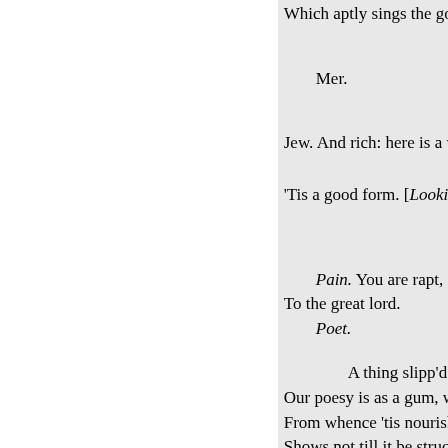Which aptly sings the good—
Mer.
Jew. And rich: here is a water,
'Tis a good form. [Looking at
Pain. You are rapt, sir, in s
To the great lord.
Poet.
A thing slipp'd idly fr
Our poesy is as a gum, whic
From whence 'tis nourish'd:
Shows not till it be struck; c
Provokes itself, and, like the
Each bound it chafes.- Wha
Pain. A picture, sir.— When c
Poet. Upon the heels of m
Let's see your piece.